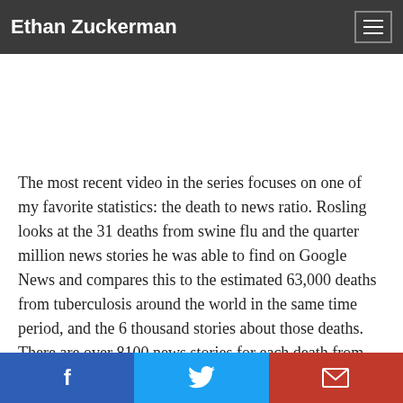Ethan Zuckerman
The most recent video in the series focuses on one of my favorite statistics: the death to news ratio. Rosling looks at the 31 deaths from swine flu and the quarter million news stories he was able to find on Google News and compares this to the estimated 63,000 deaths from tuberculosis around the world in the same time period, and the 6 thousand stories about those deaths. There are over 8100 news stories for each death from swine flu, and less than a
f  [twitter bird]  [envelope]